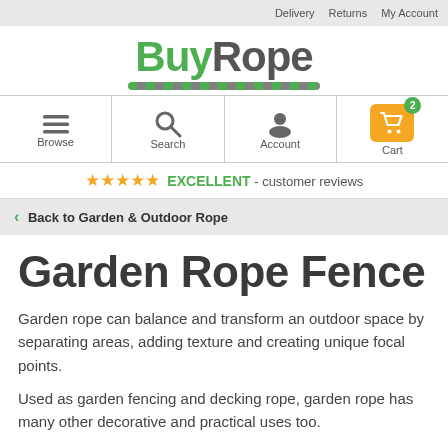Delivery   Returns   My Account
[Figure (logo): BuyRope logo with green 'Buy' and grey 'Rope' text, with a decorative rope underline]
[Figure (infographic): Navigation icons row: Browse (hamburger), Search (magnifier), Account (person), Cart (shopping cart badge 2)]
★★★★★ EXCELLENT - customer reviews
< Back to Garden & Outdoor Rope
Garden Rope Fence
Garden rope can balance and transform an outdoor space by separating areas, adding texture and creating unique focal points.
Used as garden fencing and decking rope, garden rope has many other decorative and practical uses too.